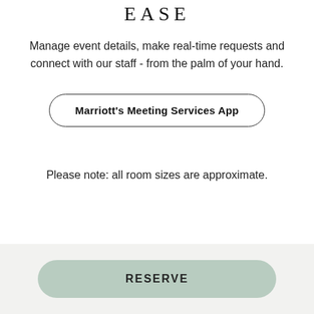EASE
Manage event details, make real-time requests and connect with our staff - from the palm of your hand.
Marriott's Meeting Services App
Please note: all room sizes are approximate.
RESERVE